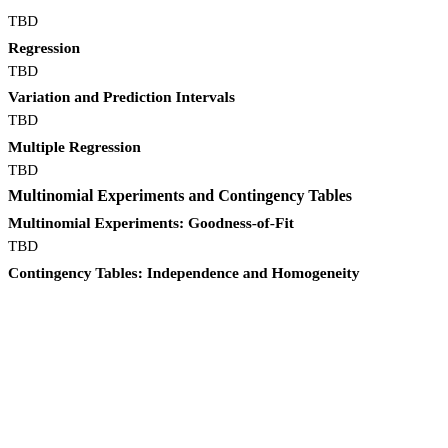TBD
Regression
TBD
Variation and Prediction Intervals
TBD
Multiple Regression
TBD
Multinomial Experiments and Contingency Tables
Multinomial Experiments: Goodness-of-Fit
TBD
Contingency Tables: Independence and Homogeneity